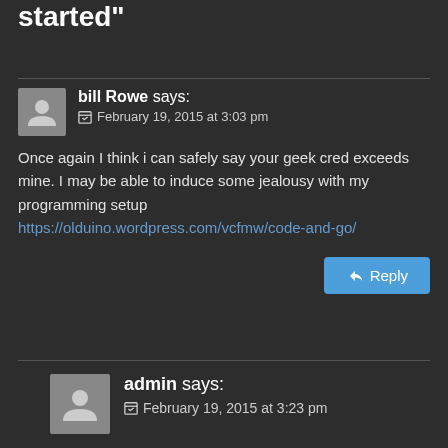started”
bill Rowe says:
February 19, 2015 at 3:03 pm
Once again I think i can safely say your geek cred exceeds mine. I may be able to induce some jealousy with my programming setup https://olduino.wordpress.com/vcfmw/code-and-go/
admin says:
February 19, 2015 at 3:23 pm